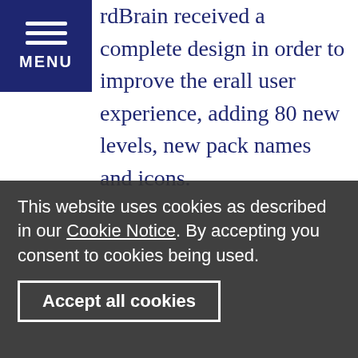MENU
rdBrain received a complete design in order to improve the erall user experience, adding 80 new levels, new pack names and icons.
“Word games have always been our bread and butter so reaching the 40 million downloads milestone with WordBrain gives us confidence that our efforts in this genre are directed the right way”, said Johan Persson, VP of Product at MAG Interactive. “Paying close attention to community feedback and constantly analysing the latest trends have helped us keep our games
This website uses cookies as described in our Cookie Notice. By accepting you consent to cookies being used.
Accept all cookies